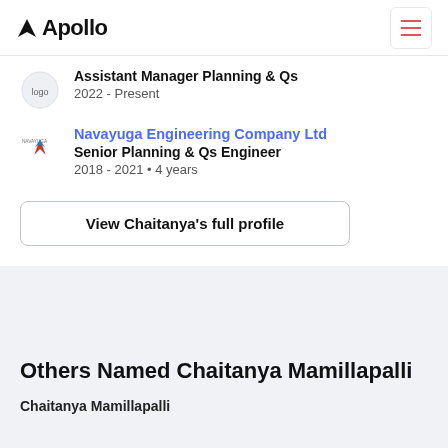Apollo
Assistant Manager Planning & Qs
2022 - Present
Navayuga Engineering Company Ltd
Senior Planning & Qs Engineer
2018 - 2021 • 4 years
View Chaitanya's full profile
Others Named Chaitanya Mamillapalli
Chaitanya Mamillapalli